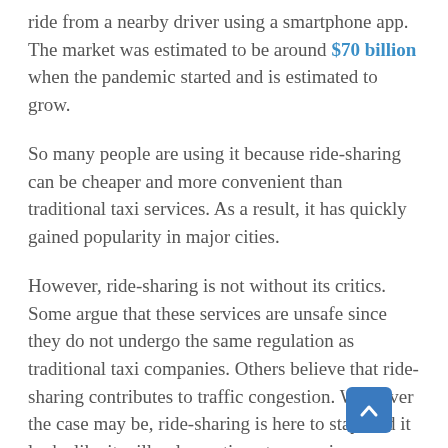ride from a nearby driver using a smartphone app. The market was estimated to be around $70 billion when the pandemic started and is estimated to grow.
So many people are using it because ride-sharing can be cheaper and more convenient than traditional taxi services. As a result, it has quickly gained popularity in major cities.
However, ride-sharing is not without its critics. Some argue that these services are unsafe since they do not undergo the same regulation as traditional taxi companies. Others believe that ride-sharing contributes to traffic congestion. Whatever the case may be, ride-sharing is here to stay, and it looks like it will only continue to grow in popularity in the years to come.
If you're planning to join the thousands of Americans